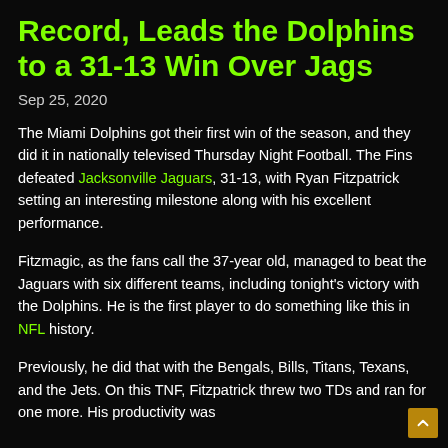Record, Leads the Dolphins to a 31-13 Win Over Jags
Sep 25, 2020
The Miami Dolphins got their first win of the season, and they did it in nationally televised Thursday Night Football. The Fins defeated Jacksonville Jaguars, 31-13, with Ryan Fitzpatrick setting an interesting milestone along with his excellent performance.
Fitzmagic, as the fans call the 37-year old, managed to beat the Jaguars with six different teams, including tonight's victory with the Dolphins. He is the first player to do something like this in NFL history.
Previously, he did that with the Bengals, Bills, Titans, Texans, and the Jets. On this TNF, Fitzpatrick threw two TDs and ran for one more. His productivity was